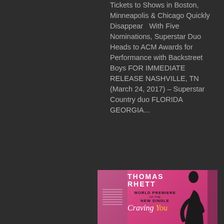Tickets to Shows in Boston, Minneapolis & Chicago Quickly Disappear   With Five Nominations, Superstar Duo Heads to ACM Awards for Performance with Backstreet Boys FOR IMMEDIATE RELEASE NASHVILLE, TN (March 24, 2017) – Superstar Country duo FLORIDA GEORGIA...
[Figure (photo): Thomas Rhett promotional card for World Premiere of the New Single 'Craving You' on a pink/magenta background with silhouette of artist on the right side]